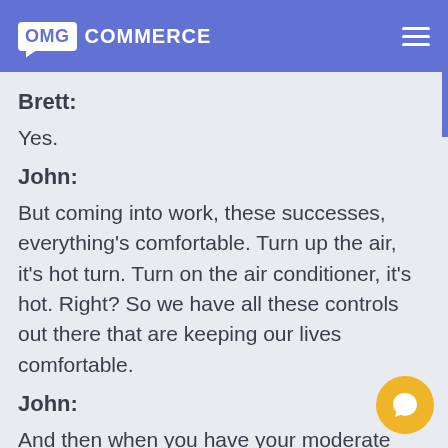OMG COMMERCE
Brett:
Yes.
John:
But coming into work, these successes, everything's comfortable. Turn up the air, it's hot turn. Turn on the air conditioner, it's hot. Right? So we have all these controls out there that are keeping our lives comfortable.
John:
And then when you have your moderate level success, what are you going to do? Right? Because when we have our interviews, they'll hear